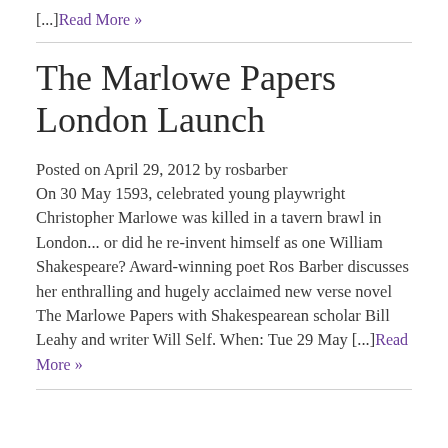[...]Read More »
The Marlowe Papers London Launch
Posted on April 29, 2012 by rosbarber
On 30 May 1593, celebrated young playwright Christopher Marlowe was killed in a tavern brawl in London... or did he re-invent himself as one William Shakespeare? Award-winning poet Ros Barber discusses her enthralling and hugely acclaimed new verse novel The Marlowe Papers with Shakespearean scholar Bill Leahy and writer Will Self. When: Tue 29 May [...]Read More »